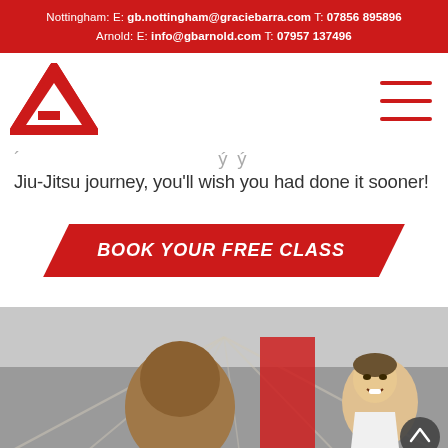Nottingham: E: gb.nottingham@graciebarra.com T: 07856 895896 Arnold: E: info@gbarnold.com T: 07957 137496
[Figure (logo): Gracie Barra red triangle logo]
Jiu-Jitsu journey, you'll wish you had done it sooner!
BOOK YOUR FREE CLASS
[Figure (photo): Two people in a martial arts class, one smiling young man in white gi]